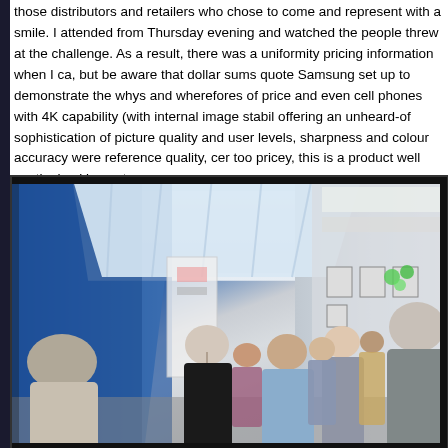those distributors and retailers who chose to come and represent with a smile. I attended from Thursday evening and watched the people threw at the challenge. As a result, there was a uniformity pricing information when I ca, but be aware that dollar sums quote Samsung set up to demonstrate the whys and wherefores of price and even cell phones with 4K capability (with internal image stabil offering an unheard-of sophistication of picture quality and user levels, sharpness and colour accuracy were reference quality, cer too pricey, this is a product well worth checking out.
[Figure (photo): Indoor conference/exhibition hall scene showing a corridor with blue wall panels on the left side, a large skylight ceiling in the center, and white walls on the right. Multiple people are visible walking and standing in groups, wearing lanyards/badges suggesting a trade show or conference event. Framed pictures are visible on the right wall.]